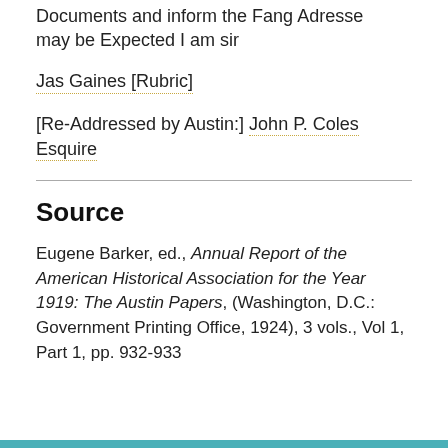Documents and inform the Fang Adresse may be Expected I am sir
Jas Gaines [Rubric]
[Re-Addressed by Austin:] John P. Coles Esquire
Source
Eugene Barker, ed., Annual Report of the American Historical Association for the Year 1919: The Austin Papers, (Washington, D.C.: Government Printing Office, 1924), 3 vols., Vol 1, Part 1, pp. 932-933